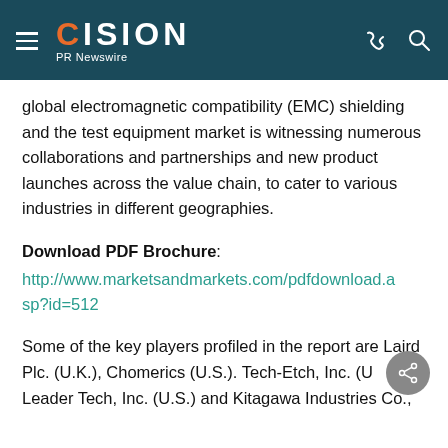CISION PR Newswire
global electromagnetic compatibility (EMC) shielding and the test equipment market is witnessing numerous collaborations and partnerships and new product launches across the value chain, to cater to various industries in different geographies.
Download PDF Brochure: http://www.marketsandmarkets.com/pdfdownload.asp?id=512
Some of the key players profiled in the report are Laird Plc. (U.K.), Chomerics (U.S.). Tech-Etch, Inc. (U Leader Tech, Inc. (U.S.) and Kitagawa Industries Co.,